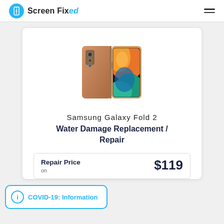Screen Fixed
[Figure (photo): Samsung Galaxy Fold 2 smartphone shown closed and open, bronze/gold color with colorful abstract wallpaper on the inner screen]
Samsung Galaxy Fold 2
Water Damage Replacement / Repair
| Repair Price |  |
| --- | --- |
|  | $119 |
COVID-19: Information